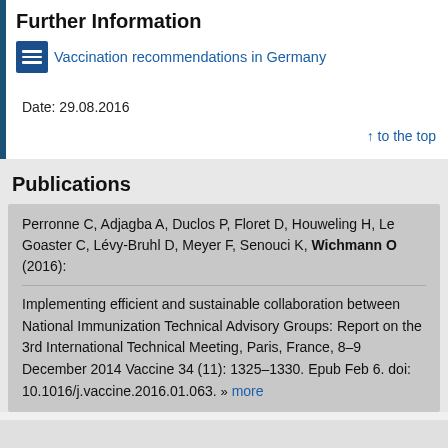Further Information
Vaccination recommendations in Germany
Date: 29.08.2016
↑ to the top
Publications
Perronne C, Adjagba A, Duclos P, Floret D, Houweling H, Le Goaster C, Lévy-Bruhl D, Meyer F, Senouci K, Wichmann O (2016):
Implementing efficient and sustainable collaboration between National Immunization Technical Advisory Groups: Report on the 3rd International Technical Meeting, Paris, France, 8–9 December 2014 Vaccine 34 (11): 1325–1330. Epub Feb 6. doi: 10.1016/j.vaccine.2016.01.063. more